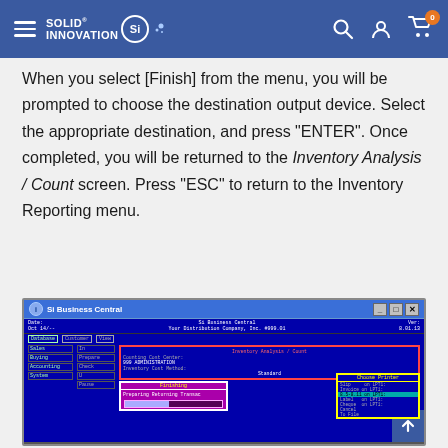Solid Innovation — navigation header with hamburger menu, logo, search, account, and cart icons
When you select [Finish] from the menu, you will be prompted to choose the destination output device. Select the appropriate destination, and press "ENTER". Once completed, you will be returned to the Inventory Analysis / Count screen. Press "ESC" to return to the Inventory Reporting menu.
[Figure (screenshot): Si Business Central DOS-style software screenshot showing Inventory Analysis / Count screen with Finishing dialog and Choose Printer dialog. Date: Oct 14/--, Company: Your Distribution Company, Inc. #999.01, Ver: 8.01.13. Counting Cost Center: 999 ADMINISTRATION. Inventory Cost Method: Standard. Choose Printer options: Slip on LPT1, Invoice on LPT1, 8.5x11 on LPT1 (selected), Label on LPT1, Cheque on LPT1, Cancel, To File.]